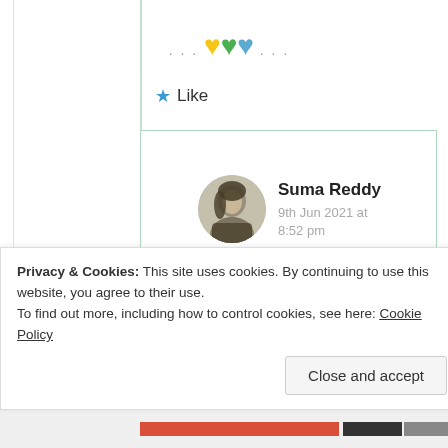[Figure (illustration): Three heart emoji icons in yellow, green, and blue with ellipsis on each side]
★ Like
[Figure (photo): Circular avatar photo of Suma Reddy]
Suma Reddy
9th Jun 2021 at
8:52 pm
I may not look for
Privacy & Cookies: This site uses cookies. By continuing to use this website, you agree to their use.
To find out more, including how to control cookies, see here: Cookie Policy
Close and accept